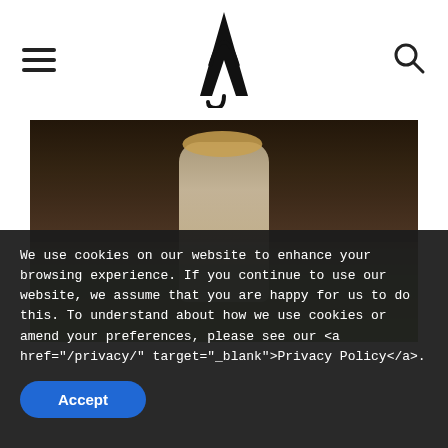Navigation header with hamburger menu, logo (stylized A), and search icon
[Figure (photo): Woman in a straw hat, white shirt, and patterned skirt standing in front of an ancient temple (Angkor Wat style), holding a small round brown bag]
We use cookies on our website to enhance your browsing experience. If you continue to use our website, we assume that you are happy for us to do this. To understand about how we use cookies or amend your preferences, please see our <a href="/privacy/" target="_blank">Privacy Policy</a>.
Accept